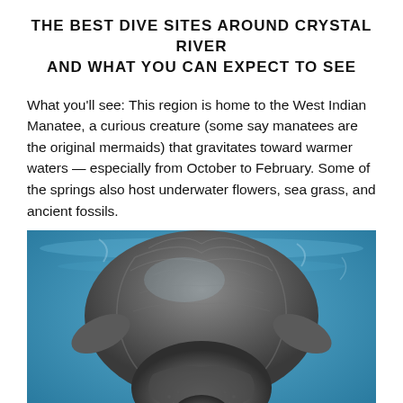THE BEST DIVE SITES AROUND CRYSTAL RIVER AND WHAT YOU CAN EXPECT TO SEE
What you'll see: This region is home to the West Indian Manatee, a curious creature (some say manatees are the original mermaids) that gravitates toward warmer waters — especially from October to February. Some of the springs also host underwater flowers, sea grass, and ancient fossils.
[Figure (photo): Underwater photograph of a West Indian Manatee viewed head-on from above, swimming in blue-green water. The manatee's large rounded back and face are visible, with textured gray skin and whiskers.]